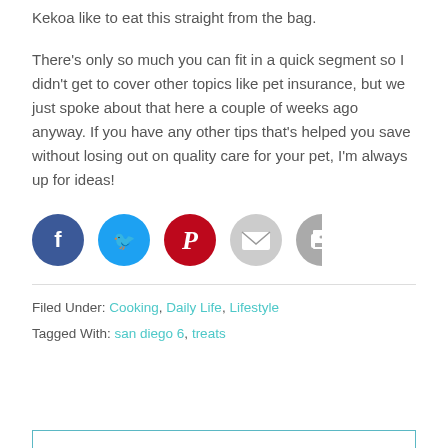Kekoa like to eat this straight from the bag.
There's only so much you can fit in a quick segment so I didn't get to cover other topics like pet insurance, but we just spoke about that here a couple of weeks ago anyway. If you have any other tips that's helped you save without losing out on quality care for your pet, I'm always up for ideas!
[Figure (infographic): Row of 5 social share buttons: Facebook (dark blue circle with f), Twitter (light blue circle with bird), Pinterest (red circle with P), Email (light gray circle with envelope), Print (gray circle with printer icon)]
Filed Under: Cooking, Daily Life, Lifestyle
Tagged With: san diego 6, treats